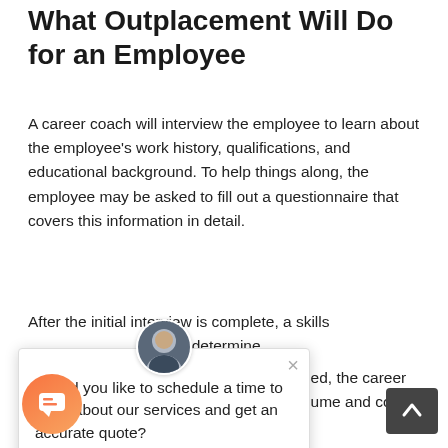What Outplacement Will Do for an Employee
A career coach will interview the employee to learn about the employee's work history, qualifications, and educational background. To help things along, the employee may be asked to fill out a questionnaire that covers this information in detail.
After the initial interview is complete, a skills [assessment is conduct]ed to determine [what skills the em]ployee has. This [information is used t]o work with the [employee to figure ]out what kind of [job fits, and what ad]ditional education and training will be needed.
Once the kind of work has been determined, the career coach will see to it that a professional resume and cover letter is written, if it is out of
[Figure (other): Chat popup overlay with avatar photo of a man, close button (×), and text 'Would you like to schedule a time to learn about our services and get an accurate quote?']
[Figure (other): Orange circular chat button at bottom left]
[Figure (other): Dark gray scroll-to-top button with upward chevron at bottom right]